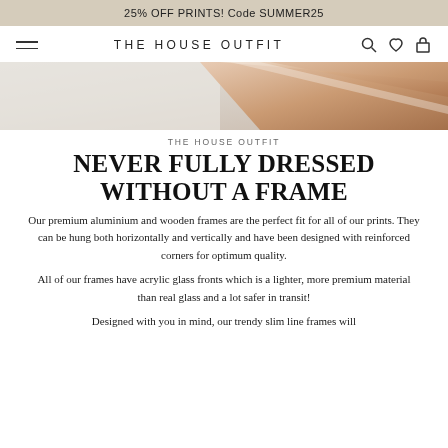25% OFF PRINTS! Code SUMMER25
THE HOUSE OUTFIT
[Figure (photo): Close-up product photo showing a corner of a picture frame with rose gold/copper metallic and light wood finish against a white background]
THE HOUSE OUTFIT
NEVER FULLY DRESSED WITHOUT A FRAME
Our premium aluminium and wooden frames are the perfect fit for all of our prints. They can be hung both horizontally and vertically and have been designed with reinforced corners for optimum quality.
All of our frames have acrylic glass fronts which is a lighter, more premium material than real glass and a lot safer in transit!
Designed with you in mind, our trendy slim line frames will